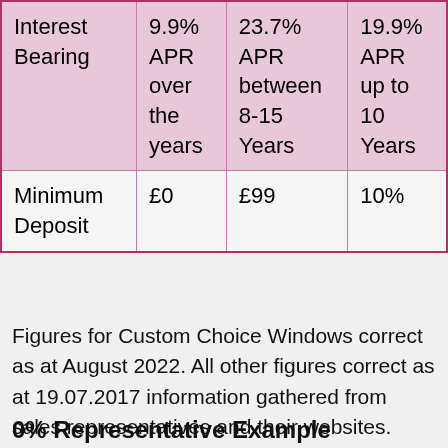| Interest Bearing | 9.9% APR over the years | 23.7% APR between 8-15 Years | 19.9% APR up to 10 Years |
| Minimum Deposit | £0 | £99 | 10% |
Figures for Custom Choice Windows correct as at August 2022. All other figures correct as at 19.07.2017 information gathered from sales representatives and their websites.
0% Representative Example